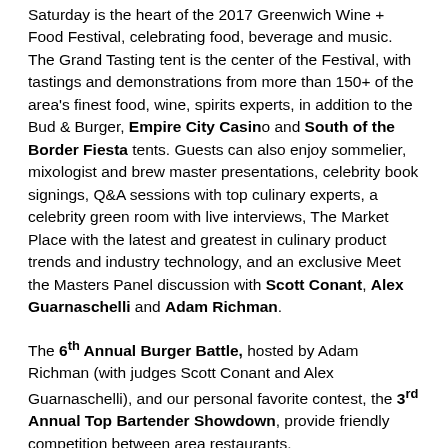Saturday is the heart of the 2017 Greenwich Wine + Food Festival, celebrating food, beverage and music. The Grand Tasting tent is the center of the Festival, with tastings and demonstrations from more than 150+ of the area's finest food, wine, spirits experts, in addition to the Bud & Burger, Empire City Casino and South of the Border Fiesta tents. Guests can also enjoy sommelier, mixologist and brew master presentations, celebrity book signings, Q&A sessions with top culinary experts, a celebrity green room with live interviews, The Market Place with the latest and greatest in culinary product trends and industry technology, and an exclusive Meet the Masters Panel discussion with Scott Conant, Alex Guarnaschelli and Adam Richman.
The 6th Annual Burger Battle, hosted by Adam Richman (with judges Scott Conant and Alex Guarnaschelli), and our personal favorite contest, the 3rd Annual Top Bartender Showdown, provide friendly competition between area restaurants.
VIP ticket holders will enjoy all day access to Saturday's VIP tent, a private bar, a secluded lounge area on the water's